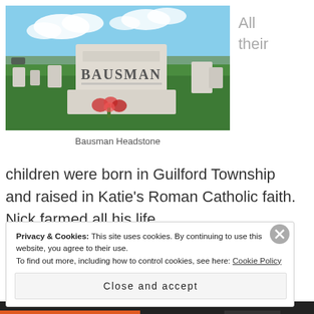[Figure (photo): Bausman family headstone in a cemetery with green grass and blue sky with clouds]
All their
Bausman Headstone
children were born in Guilford Township and raised in Katie's Roman Catholic faith. Nick farmed all his life.
Privacy & Cookies: This site uses cookies. By continuing to use this website, you agree to their use.
To find out more, including how to control cookies, see here: Cookie Policy
Close and accept